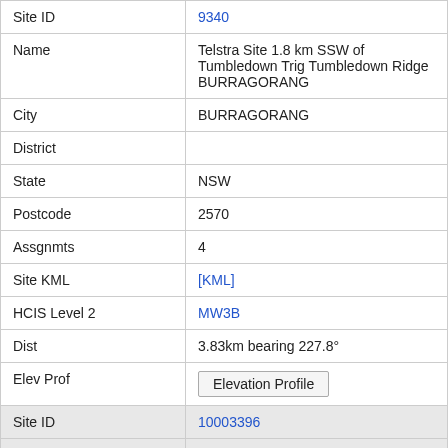| Field | Value |
| --- | --- |
| Site ID | 9340 |
| Name | Telstra Site 1.8 km SSW of Tumbledown Trig Tumbledown Ridge BURRAGORANG |
| City | BURRAGORANG |
| District |  |
| State | NSW |
| Postcode | 2570 |
| Assgnmts | 4 |
| Site KML | [KML] |
| HCIS Level 2 | MW3B |
| Dist | 3.83km bearing 227.8° |
| Elev Prof | Elevation Profile |
| Site ID | 10003396 |
| Name | Nattai RT Burragorang Road Nattai |
| City | Nattai |
| District |  |
| State | NSW |